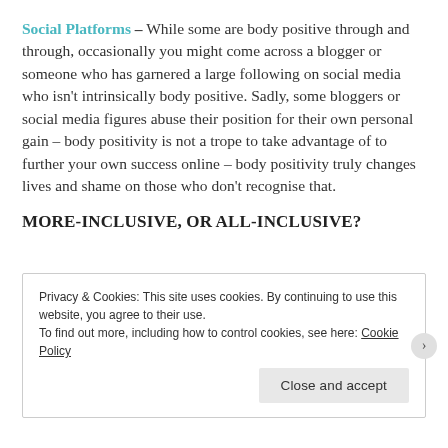Social Platforms – While some are body positive through and through, occasionally you might come across a blogger or someone who has garnered a large following on social media who isn't intrinsically body positive. Sadly, some bloggers or social media figures abuse their position for their own personal gain – body positivity is not a trope to take advantage of to further your own success online – body positivity truly changes lives and shame on those who don't recognise that.
MORE-INCLUSIVE, OR ALL-INCLUSIVE?
Privacy & Cookies: This site uses cookies. By continuing to use this website, you agree to their use.
To find out more, including how to control cookies, see here: Cookie Policy
Close and accept